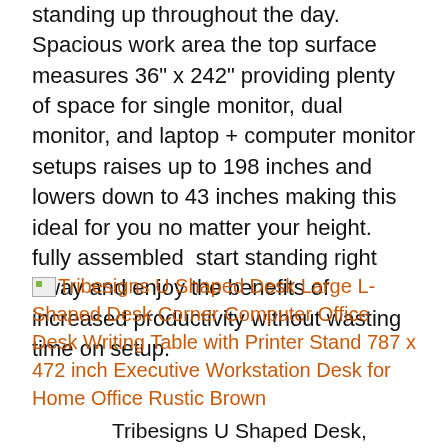standing up throughout the day.  Spacious work area the top surface measures 36" x 242" providing plenty of space for single monitor, dual monitor, and laptop + computer monitor setups raises up to 198 inches and lowers down to 43 inches making this ideal for you no matter your height.   fully assembled  start standing right away and enjoy the benefits of increased productivity without wasting time on setup.
[Figure (other): Broken image icon for Tribesigns U Shaped Desk product listing]
Tribesigns U Shaped Desk Large L-Shaped Desk Corner Computer Office Desk Writing Table with Printer Stand 787 x 472 inch Executive Workstation Desk for Home Office Rustic Brown
Tribesigns U Shaped Desk, Large L-Shaped Desk Corner Computer Office Desk Writing Table with Printer Stand, 78.7 x 47.2 inch Executive Workstation Desk for Home Office